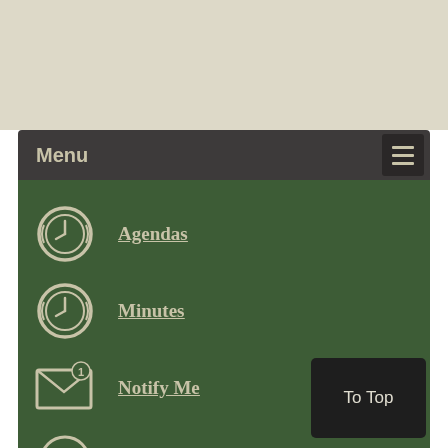Menu
Agendas
Minutes
Notify Me
Submit A Request
Employment
To Top